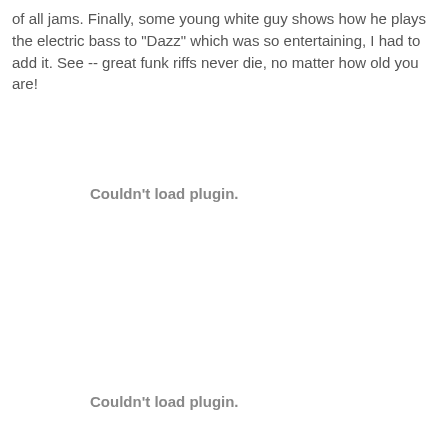of all jams. Finally, some young white guy shows how he plays the electric bass to "Dazz" which was so entertaining, I had to add it. See -- great funk riffs never die, no matter how old you are!
[Figure (other): Embedded media plugin placeholder — 'Couldn't load plugin.']
[Figure (other): Embedded media plugin placeholder — 'Couldn't load plugin.']